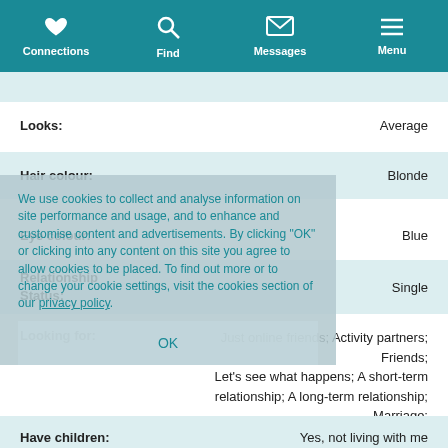Connections | Find | Messages | Menu
Looks: Average
Hair colour: Blonde
Eye colour: Blue
Relationship Status: Single
We use cookies to collect and analyse information on site performance and usage, and to enhance and customise content and advertisements. By clicking "OK" or clicking into any content on this site you agree to allow cookies to be placed. To find out more or to change your cookie settings, visit the cookies section of our privacy policy.
Looking for: Just online friends; Activity partners; Friends; Let's see what happens; A short-term relationship; A long-term relationship; Marriage; Something casual
Have children: Yes, not living with me